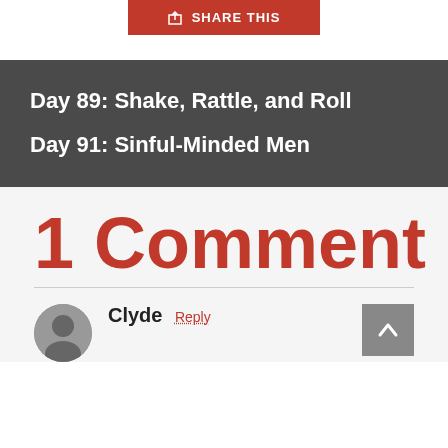[Figure (other): Red SHARE THIS button with share icon at top of page]
Day 89: Shake, Rattle, and Roll
Day 91: Sinful-Minded Men
1 Comment
Clyde Reply